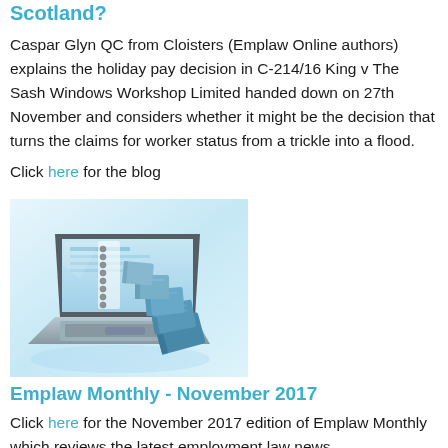Scotland?
Caspar Glyn QC from Cloisters (Emplaw Online authors) explains the holiday pay decision in C-214/16 King v The Sash Windows Workshop Limited handed down on 27th November and considers whether it might be the decision that turns the claims for worker status from a trickle into a flood.
Click here for the blog
[Figure (photo): Laptop computer with stacks of blue-tinted books emerging from the screen, suggesting digital legal resources]
Emplaw Monthly - November 2017
Click here for the November 2017 edition of Emplaw Monthly which reviews the latest employment law news